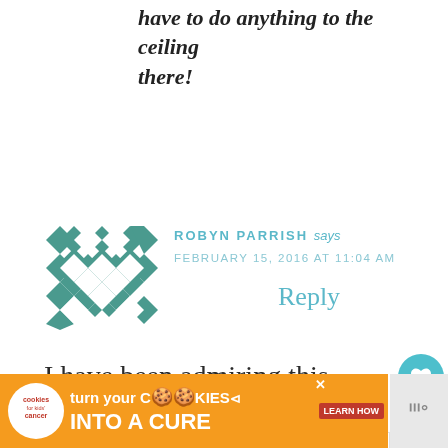have to do anything to the ceiling there!
Reply
[Figure (illustration): Geometric quilt-pattern avatar in teal and white diamond/square pattern]
ROBYN PARRISH says
FEBRUARY 15, 2016 AT 11:04 AM
I have been admiring this piece for some time now – it's a showstopper! Thank you sharing your tips and tricks with us – I found th
[Figure (infographic): Cookies for Kids Cancer advertisement banner: turn your COOKIES into a CURE LEARN HOW]
[Figure (other): What's Next arrow with A French Barometer thumbnail]